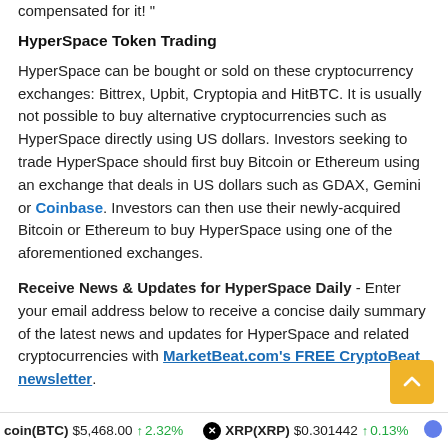compensated for it! "
HyperSpace Token Trading
HyperSpace can be bought or sold on these cryptocurrency exchanges: Bittrex, Upbit, Cryptopia and HitBTC. It is usually not possible to buy alternative cryptocurrencies such as HyperSpace directly using US dollars. Investors seeking to trade HyperSpace should first buy Bitcoin or Ethereum using an exchange that deals in US dollars such as GDAX, Gemini or Coinbase. Investors can then use their newly-acquired Bitcoin or Ethereum to buy HyperSpace using one of the aforementioned exchanges.
Receive News & Updates for HyperSpace Daily - Enter your email address below to receive a concise daily summary of the latest news and updates for HyperSpace and related cryptocurrencies with MarketBeat.com's FREE CryptoBeat newsletter.
coin(BTC) $5,468.00 ↑ 2.32%   XRP(XRP) $0.301442 ↑ 0.13%